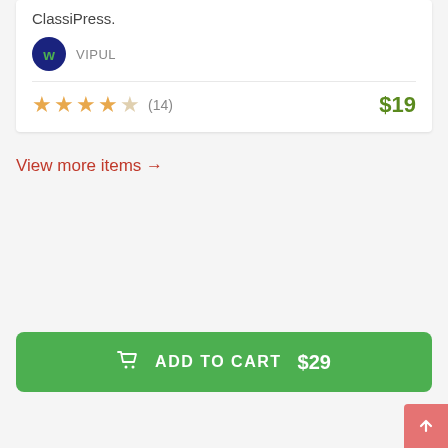ClassiPress.
VIPUL
★★★★☆ (14)   $19
View more items →
ADD TO CART   $29